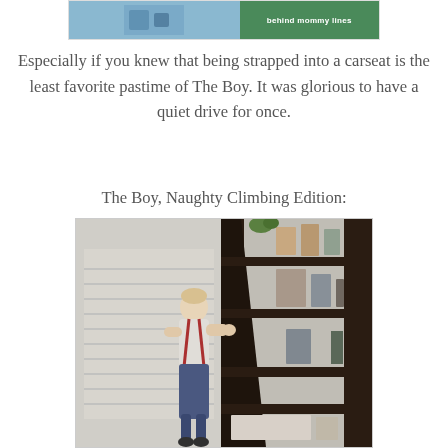[Figure (photo): Partial top of a blog header image with text 'behind mommy lines' on green background]
Especially if you knew that being strapped into a carseat is the least favorite pastime of The Boy. It was glorious to have a quiet drive for once.
The Boy, Naughty Climbing Edition:
[Figure (photo): A toddler boy climbing on a dark bookshelf unit against a wall with a window visible on the left side]